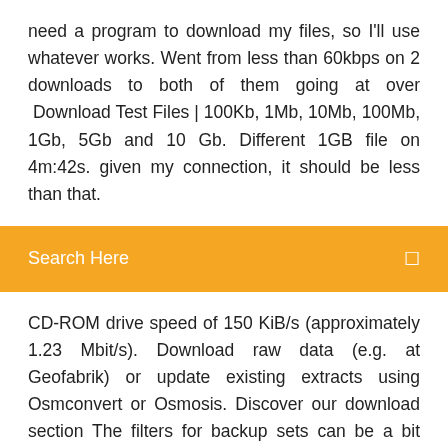need a program to download my files, so I'll use whatever works. Went from less than 60kbps on 2 downloads to both of them going at over  Download Test Files | 100Kb, 1Mb, 10Mb, 100Mb, 1Gb, 5Gb and 10 Gb. Different 1GB file on 4m:42s. given my connection, it should be less than that.
Search Here
CD-ROM drive speed of 150 KiB/s (approximately 1.23 Mbit/s). Download raw data (e.g. at Geofabrik) or update existing extracts using Osmconvert or Osmosis. Discover our download section The filters for backup sets can be a bit confusing if you are trying to do something other than backing up all files with a specific extension, but there are examples on the forums to help with those instances. Shareit is the best Amazing tool to transfer all your files images Faster. Download Shareit APK for Android Mobile and connect to share files.timkutil.cz Obchodni